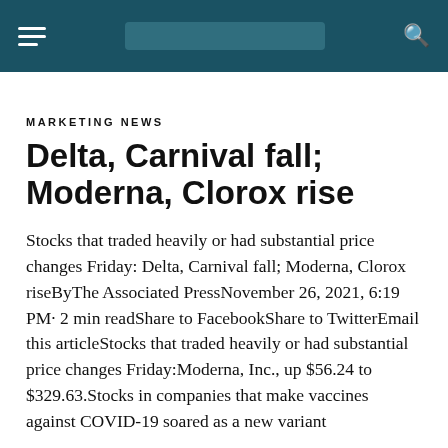MARKETING NEWS
Delta, Carnival fall; Moderna, Clorox rise
Stocks that traded heavily or had substantial price changes Friday: Delta, Carnival fall; Moderna, Clorox riseByThe Associated PressNovember 26, 2021, 6:19 PM· 2 min readShare to FacebookShare to TwitterEmail this articleStocks that traded heavily or had substantial price changes Friday:Moderna, Inc., up $56.24 to $329.63.Stocks in companies that make vaccines against COVID-19 soared as a new variant